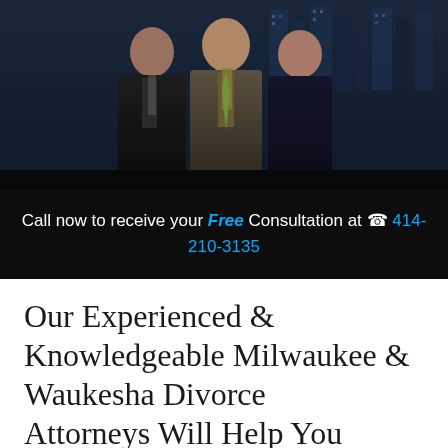[Figure (photo): Three attorneys (two men and one woman) posing in professional attire with a city skyline in the background at night]
Call now to receive your Free Consultation at ☎ 414-210-3135
Our Experienced & Knowledgeable Milwaukee & Waukesha Divorce Attorneys Will Help You
Family Law